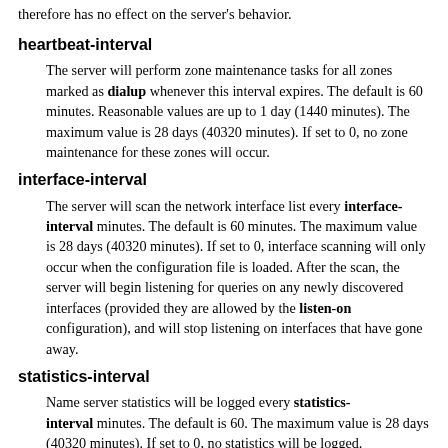therefore has no effect on the server's behavior.
heartbeat-interval
The server will perform zone maintenance tasks for all zones marked as dialup whenever this interval expires. The default is 60 minutes. Reasonable values are up to 1 day (1440 minutes). The maximum value is 28 days (40320 minutes). If set to 0, no zone maintenance for these zones will occur.
interface-interval
The server will scan the network interface list every interface-interval minutes. The default is 60 minutes. The maximum value is 28 days (40320 minutes). If set to 0, interface scanning will only occur when the configuration file is loaded. After the scan, the server will begin listening for queries on any newly discovered interfaces (provided they are allowed by the listen-on configuration), and will stop listening on interfaces that have gone away.
statistics-interval
Name server statistics will be logged every statistics-interval minutes. The default is 60. The maximum value is 28 days (40320 minutes). If set to 0, no statistics will be logged.